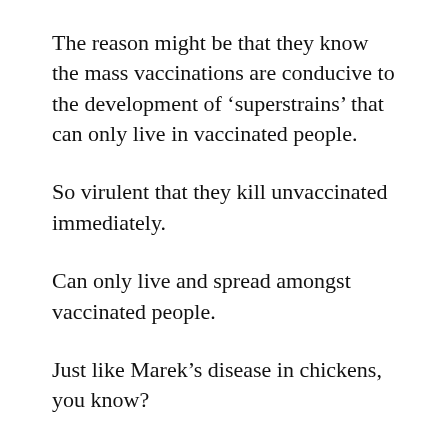The reason might be that they know the mass vaccinations are conducive to the development of ‘superstrains’ that can only live in vaccinated people.
So virulent that they kill unvaccinated immediately.
Can only live and spread amongst vaccinated people.
Just like Marek’s disease in chickens, you know?
No?  Well there was this chicken virus that they developed a vaccine against and mass